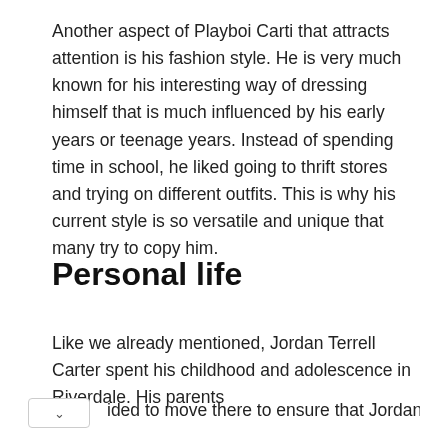Another aspect of Playboi Carti that attracts attention is his fashion style. He is very much known for his interesting way of dressing himself that is much influenced by his early years or teenage years. Instead of spending time in school, he liked going to thrift stores and trying on different outfits. This is why his current style is so versatile and unique that many try to copy him.
Personal life
Like we already mentioned, Jordan Terrell Carter spent his childhood and adolescence in Riverdale. His parents ided to move there to ensure that Jordan has a good